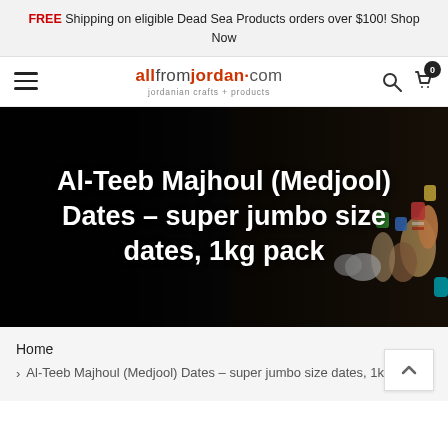FREE Shipping on eligible Dead Sea Products orders over $100! Shop Now
[Figure (screenshot): allfromjordan.com website navigation bar with hamburger menu, logo, search icon and cart icon with 0 badge]
[Figure (photo): Dark background hero image with colorful Jordanian craft figurines on right side and white text overlay]
Al-Teeb Majhoul (Medjool) Dates - super jumbo size dates, 1kg pack
Home
> Al-Teeb Majhoul (Medjool) Dates – super jumbo size dates, 1kg pack